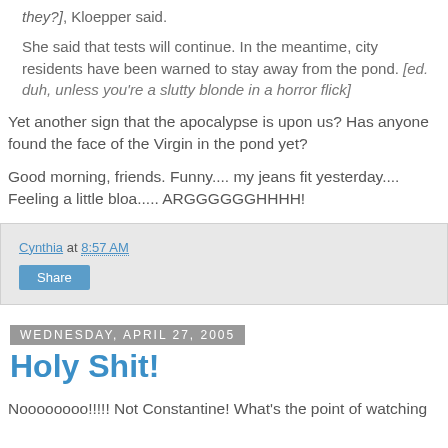they?], Kloepper said.
She said that tests will continue. In the meantime, city residents have been warned to stay away from the pond. [ed. duh, unless you're a slutty blonde in a horror flick]
Yet another sign that the apocalypse is upon us? Has anyone found the face of the Virgin in the pond yet?
Good morning, friends. Funny.... my jeans fit yesterday.... Feeling a little bloa..... ARGGGGGGHH!
Cynthia at 8:57 AM
Share
Wednesday, April 27, 2005
Holy Shit!
Noooooooo!!!!! Not Constantine! What's the point of watching